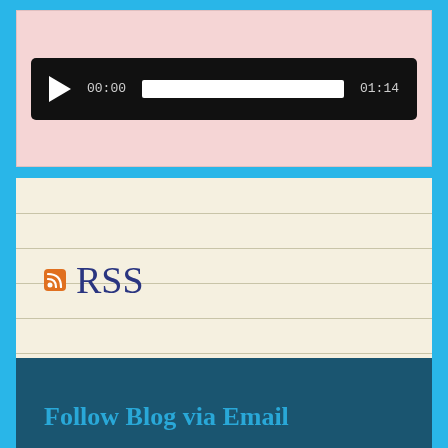[Figure (screenshot): Audio player with dark background showing play button, time 00:00, white progress bar, and duration 01:14]
[Figure (screenshot): RSS section on lined cream background with orange RSS icon and 'RSS' text in dark blue, and 'Broken Dreams' link below]
RSS
Broken Dreams
Follow Blog via Email